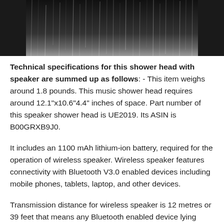[Figure (photo): Black and white close-up photo of a shower head with water droplets/streams, cropped at top]
Technical specifications for this shower head with speaker are summed up as follows: - This item weighs around 1.8 pounds. This music shower head requires around 12.1"x10.6"4.4" inches of space. Part number of this speaker shower head is UE2019. Its ASIN is B00GRXB9J0.
It includes an 1100 mAh lithium-ion battery, required for the operation of wireless speaker. Wireless speaker features connectivity with Bluetooth V3.0 enabled devices including mobile phones, tablets, laptop, and other devices.
Transmission distance for wireless speaker is 12 metres or 39 feet that means any Bluetooth enabled device lying within this range can be used to operate this wireless